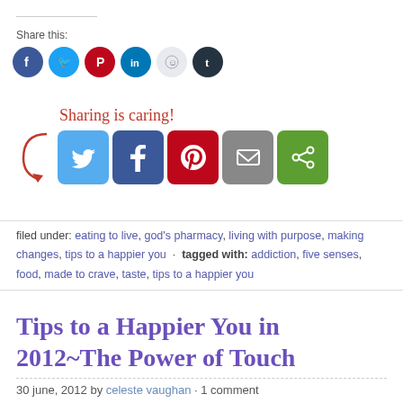Share this:
[Figure (infographic): Row of circular social media share buttons: Facebook (blue), Twitter (light blue), Pinterest (red), LinkedIn (dark blue), Reddit (light grey), Tumblr (dark grey)]
[Figure (infographic): Sharing is caring! text in red cursive with arrow pointing to a row of square social share buttons: Twitter (blue), Facebook (dark blue), Pinterest (red), Email (grey), Green share button]
filed under: eating to live, god's pharmacy, living with purpose, making changes, tips to a happier you · tagged with: addiction, five senses, food, made to crave, taste, tips to a happier you
Tips to a Happier You in 2012~The Power of Touch
30 june, 2012 by celeste vaughan · 1 comment